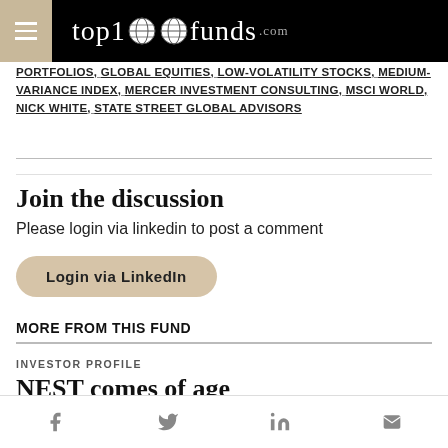top1000funds.com
PORTFOLIOS, GLOBAL EQUITIES, LOW-VOLATILITY STOCKS, MEDIUM-VARIANCE INDEX, MERCER INVESTMENT CONSULTING, MSCI WORLD, NICK WHITE, STATE STREET GLOBAL ADVISORS
Join the discussion
Please login via linkedin to post a comment
Login via LinkedIn
MORE FROM THIS FUND
INVESTOR PROFILE
NEST comes of age
Social share icons: Facebook, Twitter, LinkedIn, Email